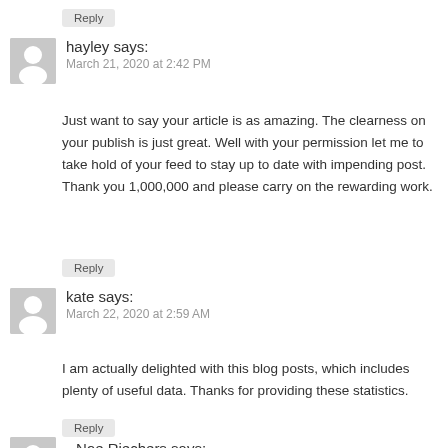Reply
hayley says:
March 21, 2020 at 2:42 PM
Just want to say your article is as amazing. The clearness on your publish is just great. Well with your permission let me to take hold of your feed to stay up to date with impending post. Thank you 1,000,000 and please carry on the rewarding work.
Reply
kate says:
March 22, 2020 at 2:59 AM
I am actually delighted with this blog posts, which includes plenty of useful data. Thanks for providing these statistics.
Reply
Noe Riechers says: